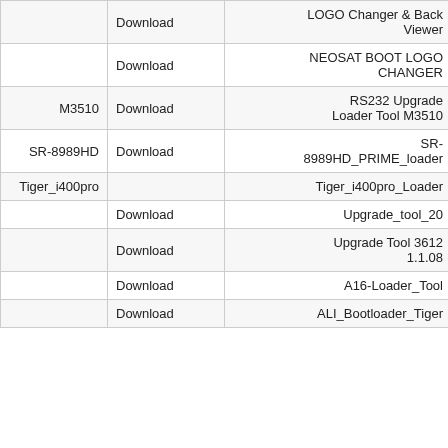|  | Action | File Name | No. |
| --- | --- | --- | --- |
|  | Download | LOGO Changer & Back Viewer | 27 |
|  | Download | NEOSAT BOOT LOGO CHANGER | 28 |
| M3510 | Download | RS232 Upgrade Loader Tool M3510 | 29 |
| SR-8989HD | Download | SR-8989HD_PRIME_loader | 30 |
| Tiger_i400pro |  | Tiger_i400pro_Loader | 31 |
|  | Download | Upgrade_tool_20 | 32 |
|  | Download | Upgrade Tool 3612 1.1.08 | 33 |
|  | Download | A16-Loader_Tool | 34 |
|  | Download | ALI_Bootloader_Tiger | 35 |